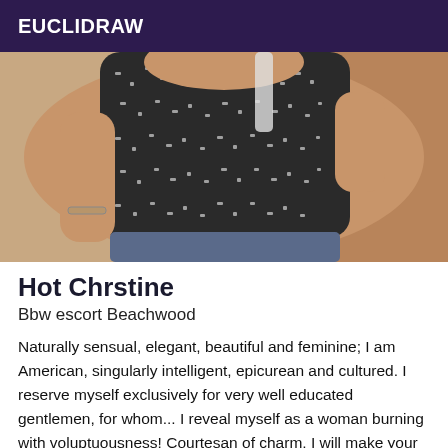EUCLIDRAW
[Figure (photo): A woman in a patterned black and white sleeveless top, partial torso view, taking a selfie. Background shows a room interior.]
Hot Chrstine
Bbw escort Beachwood
Naturally sensual, elegant, beautiful and feminine; I am American, singularly intelligent, epicurean and cultured. I reserve myself exclusively for very well educated gentlemen, for whom... I reveal myself as a woman burning with voluptuousness! Courtesan of charm, I will make your fantasies come true! See you soon for the most beautiful moments of sharing...